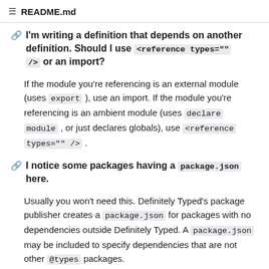README.md
I'm writing a definition that depends on another definition. Should I use <reference types="" /> or an import?
If the module you're referencing is an external module (uses export ), use an import. If the module you're referencing is an ambient module (uses declare module , or just declares globals), use <reference types="" /> .
I notice some packages having a package.json here.
Usually you won't need this. Definitely Typed's package publisher creates a package.json for packages with no dependencies outside Definitely Typed. A package.json may be included to specify dependencies that are not other @types packages.